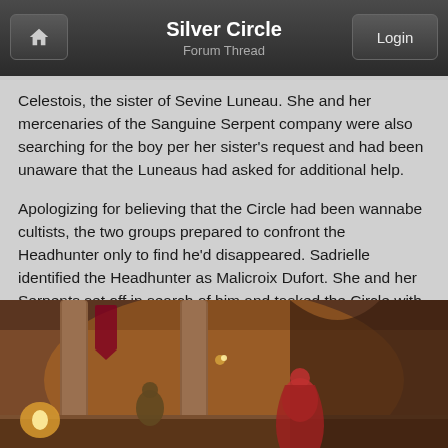Silver Circle
Forum Thread
Celestois, the sister of Sevine Luneau. She and her mercenaries of the Sanguine Serpent company were also searching for the boy per her sister's request and had been unaware that the Luneaus had asked for additional help.
Apologizing for believing that the Circle had been wannabe cultists, the two groups prepared to confront the Headhunter only to find he'd disappeared. Sadrielle identified the Headhunter as Malicroix Dufort. She and her Serpents set off in search of him and tasked the Circle with looking for anything useful around the estate.
Using her magic, Ivahra managed to uncover an invisible trapdoor inside that had been used in the escape. Glynindra and Iaron spotted numerous fel tomes and scrolls among Malicroix's bookshelves, leaving no doubts about his true allegiance.
[Figure (illustration): Fantasy game scene showing figures in a decorated interior with columns, warm orange/brown tones, featuring characters in a hall or tavern setting]